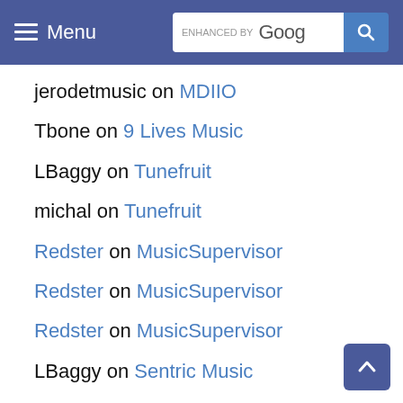Menu | ENHANCED BY Google [search]
jerodetmusic on MDIIO
Tbone on 9 Lives Music
LBaggy on Tunefruit
michal on Tunefruit
Redster on MusicSupervisor
Redster on MusicSupervisor
Redster on MusicSupervisor
LBaggy on Sentric Music
LBaggy on TunEdge Music
ToddB on MusicSupervisor